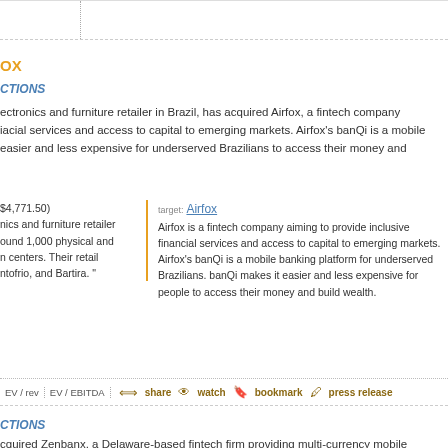OX
CTIONS
ectronics and furniture retailer in Brazil, has acquired Airfox, a fintech company iacial services and access to capital to emerging markets. Airfox's banQi is a mobile easier and less expensive for underserved Brazilians to access their money and
$4,771.50)
nics and furniture retailer
ound 1,000 physical and
n centers. Their retail
ntofrio, and Bartira. "
target: Airfox
Airfox is a fintech company aiming to provide inclusive financial services and access to capital to emerging markets. Airfox's banQi is a mobile banking platform for underserved Brazilians. banQi makes it easier and less expensive for people to access their money and build wealth.
EV / rev | EV / EBITDA | share | watch | bookmark | press release
CTIONS
cquired Zenbanx, a Delaware-based fintech firm providing multi-currency mobile